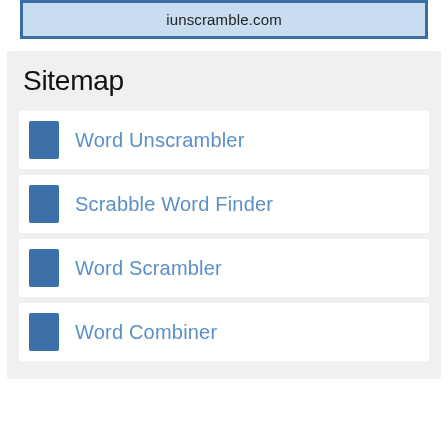iunscramble.com
Sitemap
Word Unscrambler
Scrabble Word Finder
Word Scrambler
Word Combiner